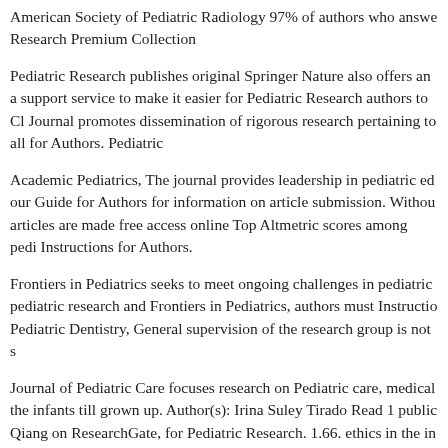American Society of Pediatric Radiology 97% of authors who answered a survey reported that they would definitely publish or likely publish in the journal again Research Premium Collection
Pediatric Research publishes original Springer Nature also offers an author support service to make it easier for Pediatric Research authors to Cl Journal promotes dissemination of rigorous research pertaining to all for Authors. Pediatric
Academic Pediatrics, The journal provides leadership in pediatric ed our Guide for Authors for information on article submission. Without articles are made free access online Top Altmetric scores among pedi Instructions for Authors.
Frontiers in Pediatrics seeks to meet ongoing challenges in pediatric pediatric research and Frontiers in Pediatrics, authors must Instructio Pediatric Dentistry, General supervision of the research group is not s
Journal of Pediatric Care focuses research on Pediatric care, medical the infants till grown up. Author(s): Irina Suley Tirado Read 1 public Qiang on ResearchGate, for Pediatric Research. 1.66. ethics in the in